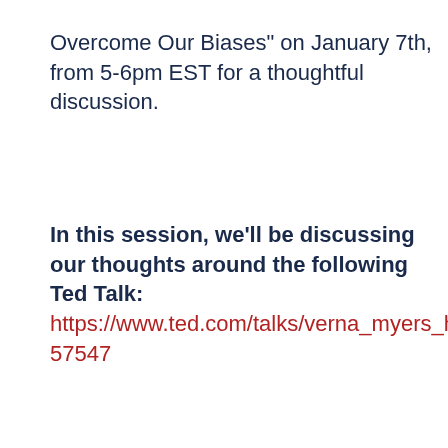Overcome Our Biases" on January 7th, from 5-6pm EST for a thoughtful discussion.
In this session, we'll be discussing our thoughts around the following Ted Talk: https://www.ted.com/talks/verna_myers_how_57547